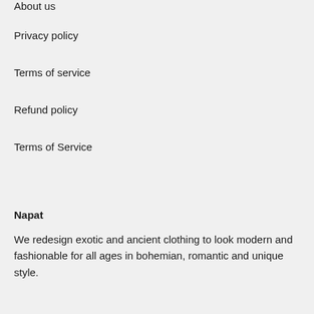About us
Privacy policy
Terms of service
Refund policy
Terms of Service
Napat
We redesign exotic and ancient clothing to look modern and fashionable for all ages in bohemian, romantic and unique style.